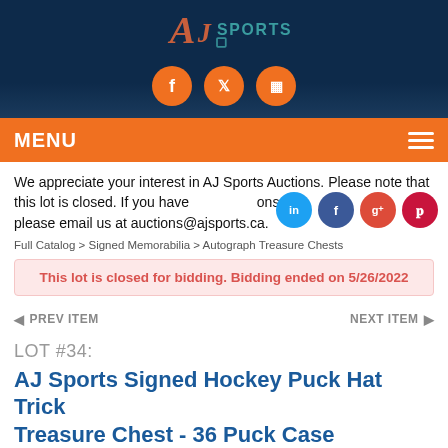[Figure (logo): AJ Sports logo on dark blue background with social media icons (Facebook, Twitter, Instagram) in orange circles]
MENU
We appreciate your interest in AJ Sports Auctions. Please note that this lot is closed. If you have any questions, please email us at auctions@ajsports.ca.
Full Catalog > Signed Memorabilia > Autograph Treasure Chests
This lot is closed for bidding. Bidding ended on 5/26/2022
◀ PREV ITEM    NEXT ITEM ▶
LOT #34:
AJ Sports Signed Hockey Puck Hat Trick Treasure Chest - 36 Puck Case